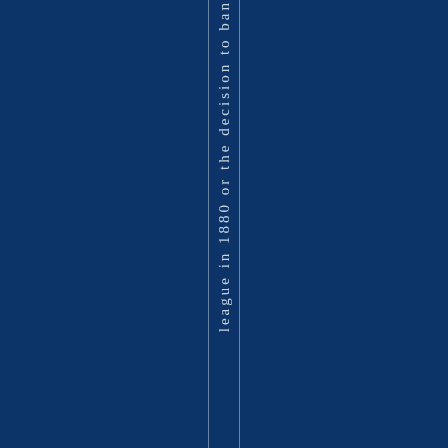league in 1880 or the decision to ban